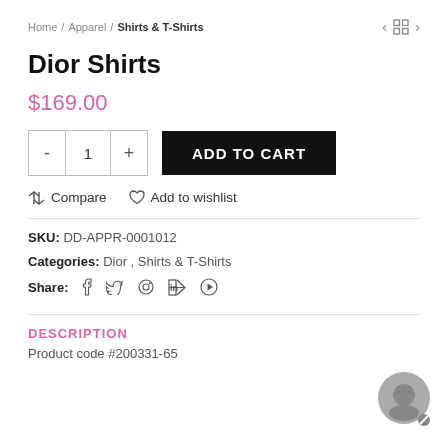Home / Apparel / Shirts & T-Shirts
Dior Shirts
$169.00
ADD TO CART
Compare  Add to wishlist
SKU: DD-APPR-0001012
Categories: Dior , Shirts & T-Shirts
Share:
DESCRIPTION
Product code #200331-65